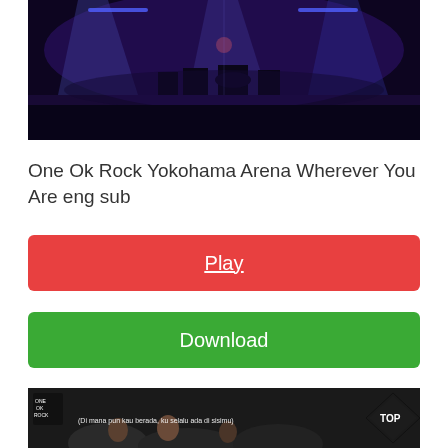[Figure (photo): Concert stage photo with purple/blue stage lighting, performers on stage, dark background]
One Ok Rock Yokohama Arena Wherever You Are eng sub
Play
Download
[Figure (screenshot): Video thumbnail showing subtitle text: (Di mana pun kau berada, ku selalu ada di sisimu) with ONE OK ROCK logo and TOP diamond badge]